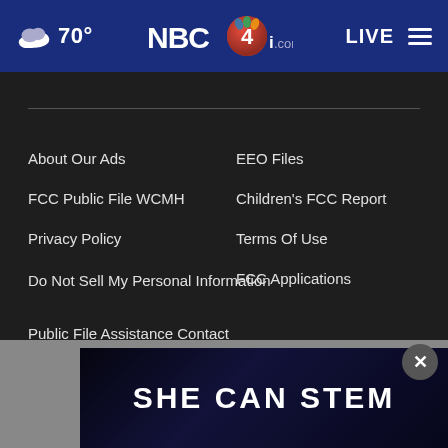70° NBC4i.com LIVE
About Our Ads
EEO Files
FCC Public File WCMH
Children's FCC Report
Privacy Policy
Terms Of Use
Do Not Sell My Personal Information
FCC Applications
Public File Assistance Contact
The Hill
[Figure (screenshot): Advertisement banner reading SHE CAN STEM on dark blue starry background]